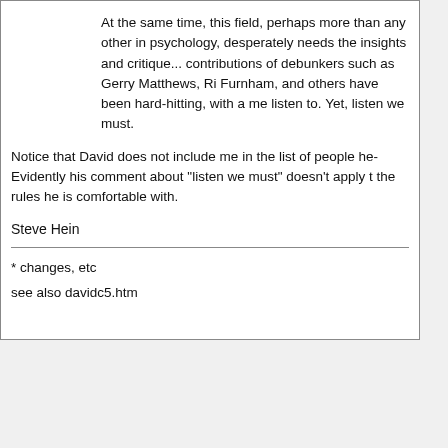At the same time, this field, perhaps more than any other in psychology, desperately needs the insights and critiques. The contributions of debunkers such as Gerry Matthews, Ri... Furnham, and others have been hard-hitting, with a me... listen to. Yet, listen we must.
Notice that David does not include me in the list of people he... Evidently his comment about "listen we must" doesn't apply t... the rules he is comfortable with.
Steve Hein
* changes, etc
see also davidc5.htm